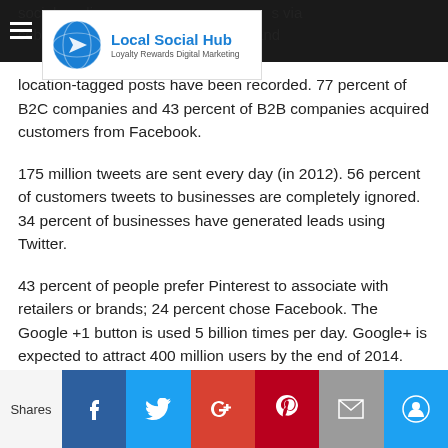Local Social Hub — Loyalty Rewards Digital Marketing
social media users … via Facebook. As of 2… and location-tagged posts have been recorded. 77 percent of B2C companies and 43 percent of B2B companies acquired customers from Facebook.
175 million tweets are sent every day (in 2012). 56 percent of customers tweets to businesses are completely ignored. 34 percent of businesses have generated leads using Twitter.
43 percent of people prefer Pinterest to associate with retailers or brands; 24 percent chose Facebook. The Google +1 button is used 5 billion times per day. Google+ is expected to attract 400 million users by the end of 2014.
Shares — Facebook, Twitter, Google+, Pinterest, Email, Circle share buttons